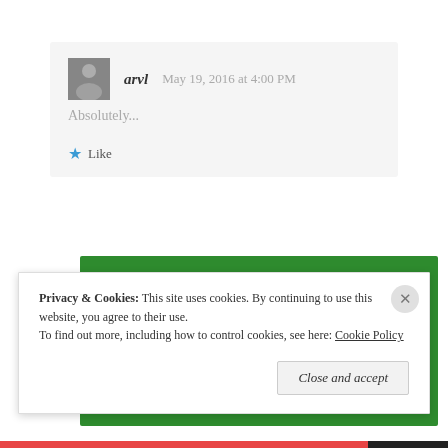arvl   May 19, 2016 at 4:00 PM
Absolutely...
Like
[Figure (screenshot): Green advertisement banner for WordPress backup plugin with text 'The best real-time WordPress backup plugin' and 'Back up your site' button]
Privacy & Cookies: This site uses cookies. By continuing to use this website, you agree to their use.
To find out more, including how to control cookies, see here: Cookie Policy
Close and accept